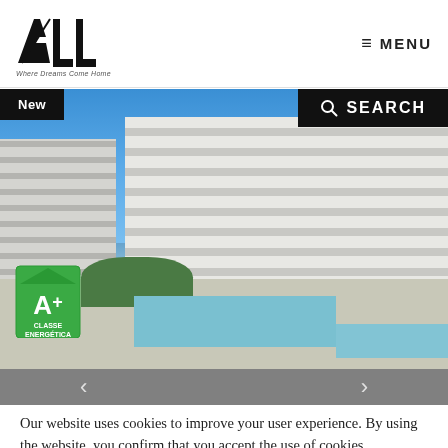[Figure (logo): ALL Real Estate logo — bold geometric ALL letters with diagonal slash, tagline 'Where Dreams Come Home']
≡ MENU
New
🔍 SEARCH
[Figure (photo): Modern white apartment complex with horizontal banded facade, outdoor swimming pool, trees and blue sky. Energy class A+ badge (Classe Energética) in lower left.]
Our website uses cookies to improve your user experience. By using the website, you confirm that you accept the use of cookies